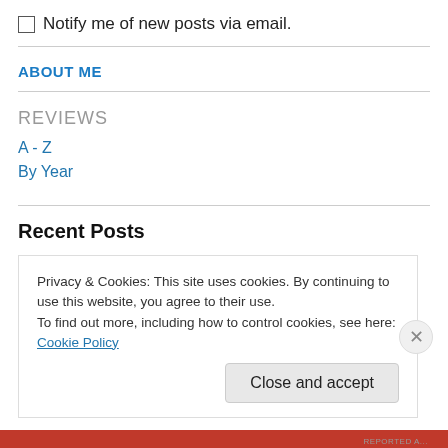Notify me of new posts via email.
ABOUT ME
REVIEWS
A - Z
By Year
Recent Posts
Privacy & Cookies: This site uses cookies. By continuing to use this website, you agree to their use.
To find out more, including how to control cookies, see here: Cookie Policy
Close and accept